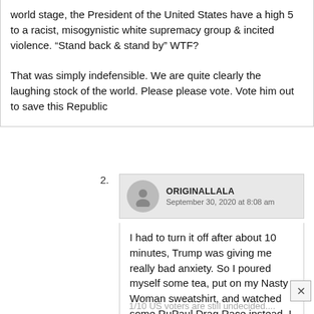world stage, the President of the United States have a high 5 to a racist, misogynistic white supremacy group & incited violence. “Stand back & stand by” WTF?

That was simply indefensible. We are quite clearly the laughing stock of the world. Please please vote. Vote him out to save this Republic
2.
ORIGINALLALA
September 30, 2020 at 8:08 am
I had to turn it off after about 10 minutes, Trump was giving me really bad anxiety. So I poured myself some tea, put on my Nasty Woman sweatshirt, and watched some RuPaul Drag Race instead. I have no idea how
1/10 US voters are still undecided....